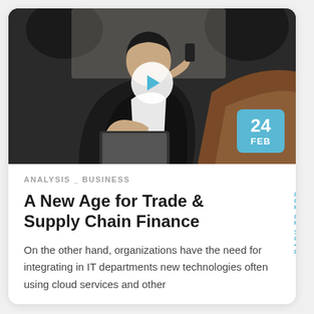[Figure (photo): Business man in a suit sitting in a car, talking on a phone and working on a laptop. A video play button overlay is shown in the center of the image. A blue date badge shows '24 FEB' in the bottom right corner.]
ANALYSIS _ BUSINESS
A New Age for Trade & Supply Chain Finance
On the other hand, organizations have the need for integrating in IT departments new technologies often using cloud services and other